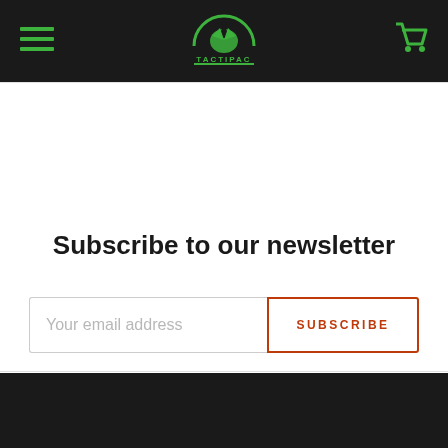TACTIPAC navigation bar with hamburger menu and cart icon
Subscribe to our newsletter
Your email address
SUBSCRIBE